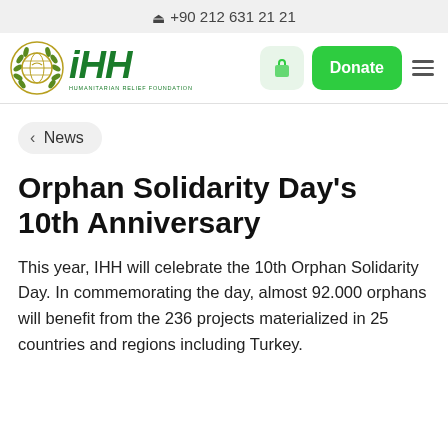+90 212 631 21 21
[Figure (logo): IHH Humanitarian Relief Foundation logo with globe emblem and green IHH text, Donate button and cart icon]
< News
Orphan Solidarity Day's 10th Anniversary
This year, IHH will celebrate the 10th Orphan Solidarity Day. In commemorating the day, almost 92.000 orphans will benefit from the 236 projects materialized in 25 countries and regions including Turkey.